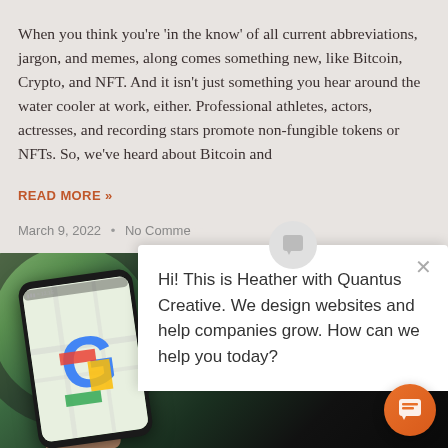When you think you're 'in the know' of all current abbreviations, jargon, and memes, along comes something new, like Bitcoin, Crypto, and NFT. And it isn't just something you hear around the water cooler at work, either. Professional athletes, actors, actresses, and recording stars promote non-fungible tokens or NFTs. So, we've heard about Bitcoin and
READ MORE »
March 9, 2022  •  No Comments
[Figure (photo): Person holding a smartphone displaying Google Maps app, photographed from inside a car]
Hi! This is Heather with Quantus Creative. We design websites and help companies grow. How can we help you today?